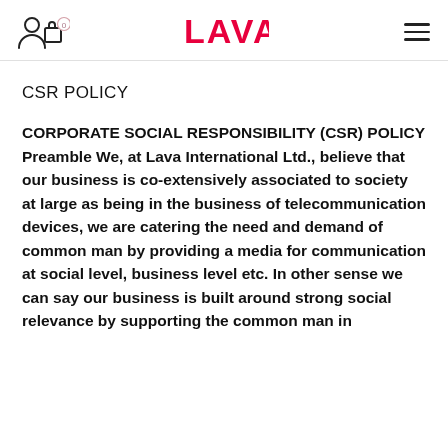LAVA
CSR POLICY
CORPORATE SOCIAL RESPONSIBILITY (CSR) POLICY Preamble We, at Lava International Ltd., believe that our business is co-extensively associated to society at large as being in the business of telecommunication devices, we are catering the need and demand of common man by providing a media for communication at social level, business level etc. In other sense we can say our business is built around strong social relevance by supporting the common man in